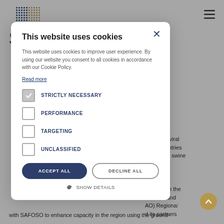[Figure (logo): Colorful pixel/dot grid logo in blue and gold/tan colors]
S
≡
This website uses cookies
This website uses cookies to improve user experience. By using our website you consent to all cookies in accordance with our Cookie Policy.
Read more
☑ STRICTLY NECESSARY
☐ PERFORMANCE
☐ TARGETING
☐ UNCLASSIFIED
ACCEPT ALL | DECLINE ALL
⚙ SHOW DETAILS
ASF), a viral ting countries es to the swine
s of ASF in the he Food and AO) Regional d its partners with SAFOSO to enhance capacity in the region using the ground-